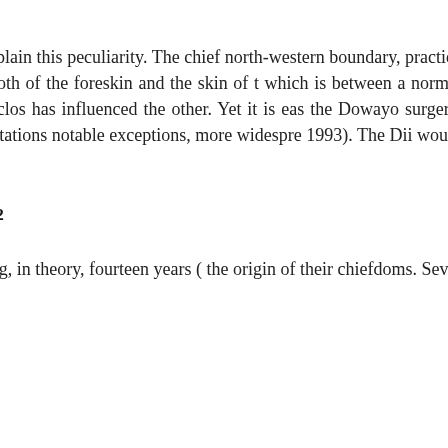chiefdom which, under his governm...
Again, this re-circumcision, in its peculiarity, has not, up to the present, been able to explain this peculiarity. The chiefdoms on the north-western boundary, practice an unusual rite. They not only cut the foreskin but also add a touch of feminity. This touch of feminity is said to consist both of the foreskin and the skin of the scrotum, which is between a normal circumcision and what is done by the Dowayo. Without any of the two instances being geographically close enough, one has influenced the other. Yet it is easier to explain the Dowayo surgery, than that the Dii borrowed and then amplified it and extended it to... This seems more plausible since interpretations of this rite, with notable exceptions, more widespread (Fortier 1993). The Dii would simply have reversed the masculine connotation to the foreski...
The Rukuba²
Let's move now to the Rukuba, a people grouped into some twenty clans, spanning, in theory, fourteen years (...) the origin of their chiefdoms. Seve...